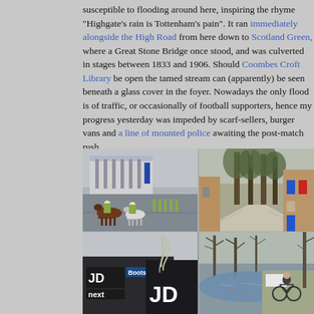susceptible to flooding around here, inspiring the rhyme "Highgate's rain is Tottenham's pain". It ran immediately alongside the High Road from here down to Scotland Green, where a Great Stone Bridge once stood, and was culverted in stages between 1833 and 1906. Should Coombes Croft Library be open the tamed stream can (apparently) be seen beneath a glass cover in the foyer. Nowadays the only flood is of traffic, or occasionally of football supporters, hence my progress yesterday was impeded by scarf-sellers, burger vans and a line of mounted police awaiting the post-match rush.
[Figure (photo): Four photographs arranged in a 2x2 grid: top-left shows mounted police on horseback outside a football stadium; top-right shows a tree-lined footpath beside residential buildings with blue and red doors; bottom-left shows a retail park with JD Sports, Boots, and Next store signs and a distinctive spiral sculpture; bottom-right shows a flooded park path with bare winter trees and a person cycling.]